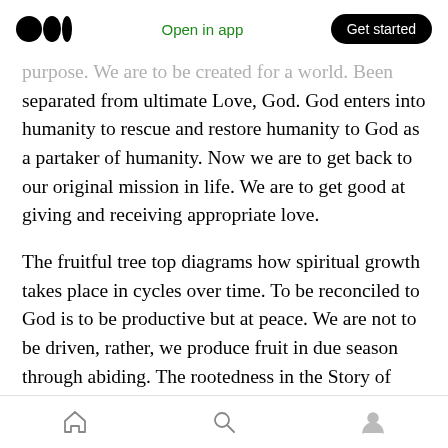Medium logo | Open in app | Get started
purpose. We are to be created for a world. Been separated from ultimate Love, God. God enters into humanity to rescue and restore humanity to God as a partaker of humanity. Now we are to get back to our original mission in life. We are to get good at giving and receiving appropriate love.
The fruitful tree top diagrams how spiritual growth takes place in cycles over time. To be reconciled to God is to be productive but at peace. We are not to be driven, rather, we produce fruit in due season through abiding. The rootedness in the Story of God forming his people
Home | Search | Profile